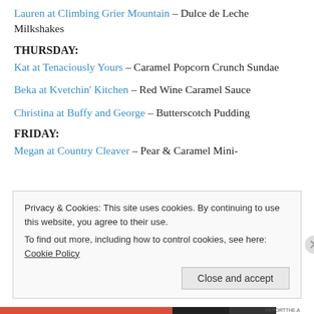Lauren at Climbing Grier Mountain – Dulce de Leche Milkshakes
THURSDAY:
Kat at Tenaciously Yours – Caramel Popcorn Crunch Sundae
Beka at Kvetchin' Kitchen – Red Wine Caramel Sauce
Christina at Buffy and George – Butterscotch Pudding
FRIDAY:
Megan at Country Cleaver – Pear & Caramel Mini-
Privacy & Cookies: This site uses cookies. By continuing to use this website, you agree to their use. To find out more, including how to control cookies, see here: Cookie Policy